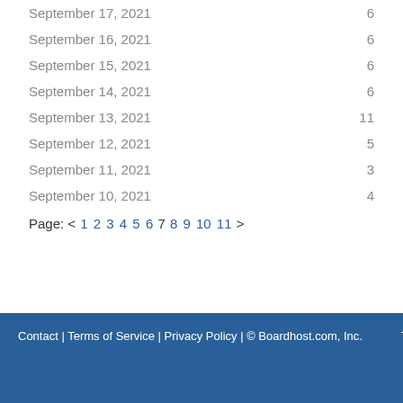September 17, 2021	6
September 16, 2021	6
September 15, 2021	6
September 14, 2021	6
September 13, 2021	11
September 12, 2021	5
September 11, 2021	3
September 10, 2021	4
Page: < 1 2 3 4 5 6 7 8 9 10 11 >
Contact | Terms of Service | Privacy Policy | © Boardhost.com, Inc.